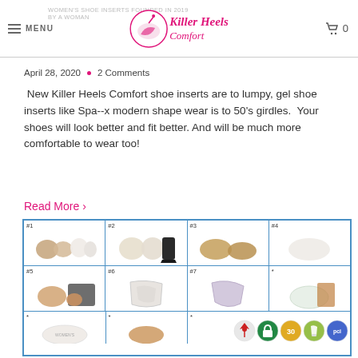WOMEN'S SHOE INSERTS — Killer Heels Comfort — FOUNDED IN 2019 BY A WOMAN
April 28, 2020 · 2 Comments
New Killer Heels Comfort shoe inserts are to lumpy, gel shoe inserts like Spa--x modern shape wear is to 50's girdles. Your shoes will look better and fit better. And will be much more comfortable to wear too!
Read More ›
[Figure (other): Grid of 12 shoe insert product images labeled #1 through #7 and additional unlabeled slots, arranged in a 4-column by 3-row grid with blue borders.]